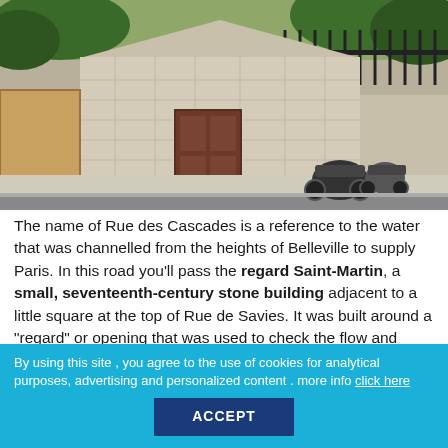[Figure (photo): Photograph of the regard Saint-Martin, a small seventeenth-century stone building with a triangular/hipped roof, a dark wooden door, situated on a Paris street with motorcycles parked nearby and trees in background.]
The name of Rue des Cascades is a reference to the water that was channelled from the heights of Belleville to supply Paris. In this road you'll pass the regard Saint-Martin, a small, seventeenth-century stone building adjacent to a little square at the top of Rue de Savies. It was built around a "regard" or opening that was used to check the flow and quality of the water. The water supply is also the source of the nickname of the café-bar next door – La Fontaine d'Henri IV (Henry IV's fountain).
By using this site , you agree to the use of cookies for analytical purposes, advertising and personalized content . more info click here